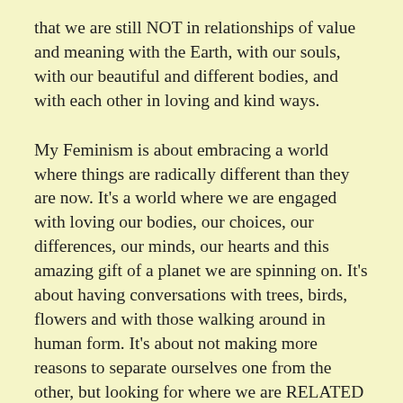that we are still NOT in relationships of value and meaning with the Earth, with our souls, with our beautiful and different bodies, and with each other in loving and kind ways.
My Feminism is about embracing a world where things are radically different than they are now. It's a world where we are engaged with loving our bodies, our choices, our differences, our minds, our hearts and this amazing gift of a planet we are spinning on. It's about having conversations with trees, birds, flowers and with those walking around in human form. It's about not making more reasons to separate ourselves one from the other, but looking for where we are RELATED and similar and how we can build those connections so that we NEVER maim, harm, rape, kill or violate each other. That world isn't here yet, but I am praying every day for it. I call out to the Shechinah and to Ha–Melech all the time in hopes that this dreamed and hoped-for world, Olam Ha-Ba will arrive in my lifetime, or if